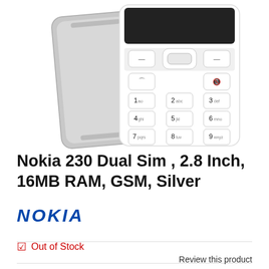[Figure (photo): Nokia 230 Dual Sim phone product photo showing back of silver phone and front of white phone with keypad visible]
Nokia 230 Dual Sim , 2.8 Inch, 16MB RAM, GSM, Silver
[Figure (logo): NOKIA brand logo in blue italic bold text]
Out of Stock
Review this product